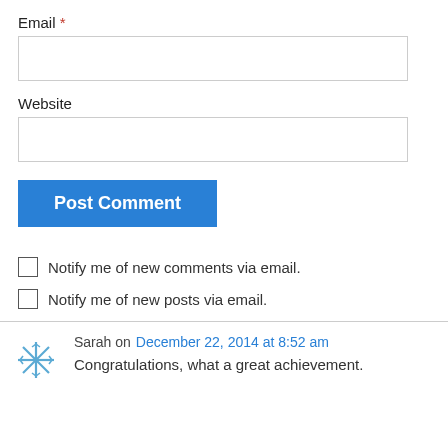Email *
[Figure (other): Empty email text input field with border]
Website
[Figure (other): Empty website text input field with border]
[Figure (other): Blue 'Post Comment' button]
Notify me of new comments via email.
Notify me of new posts via email.
Sarah on December 22, 2014 at 8:52 am
Congratulations, what a great achievement.